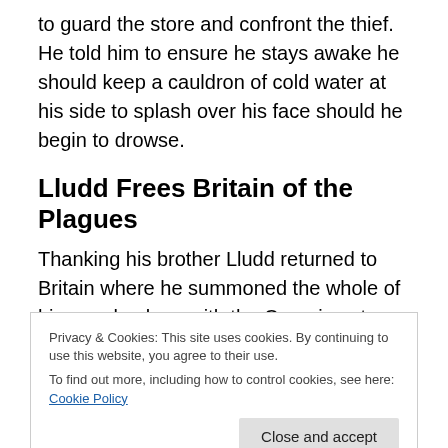to guard the store and confront the thief.  He told him to ensure he stays awake he should keep a cauldron of cold water at his side to splash over his face should he begin to drowse.
Lludd Frees Britain of the Plagues
Thanking his brother Lludd returned to Britain where he summoned the whole of his people along with the Coranians to a great meeting.  He had previously crushed and prepared the insect mixture as his brother had taught
Privacy & Cookies: This site uses cookies. By continuing to use this website, you agree to their use.
To find out more, including how to control cookies, see here: Cookie Policy
After this Lludd had his servants measure the length and